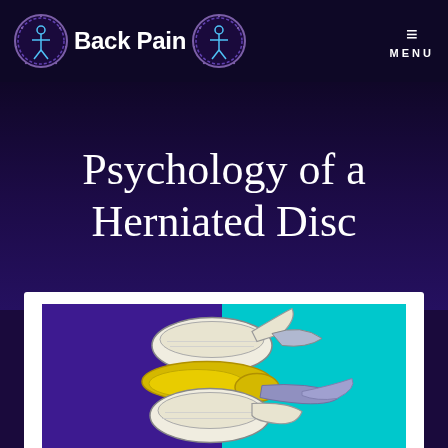Back Pain
Psychology of a Herniated Disc
[Figure (illustration): Medical illustration of a herniated spinal disc showing vertebrae cross-section with disc material protruding, on a purple and cyan background]